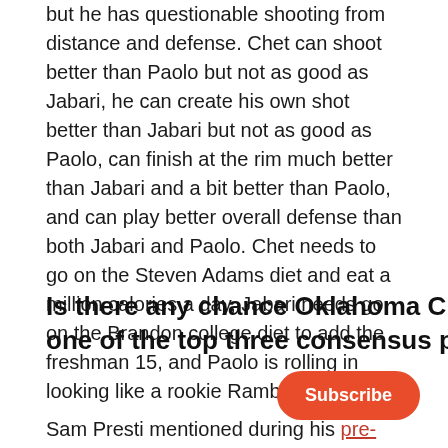but he has questionable shooting from distance and defense. Chet can shoot better than Paolo but not as good as Jabari, he can create his own shot better than Jabari but not as good as Paolo, can finish at the rim much better than Jabari and a bit better than Paolo, and can play better overall defense than both Jabari and Paolo. Chet needs to go on the Steven Adams diet and eat a million calories a day, Jabari needs go on the Brandon college diet to add the freshman 15, and Paolo is rolling in looking like a rookie Rambo.
Is there any chance Oklahoma City doesn't draft one of the top three consensus players?
Sam Presti mentioned during his pre-Lottery Draft